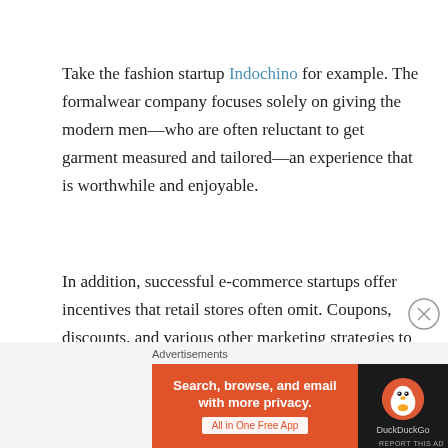Take the fashion startup Indochino for example. The formalwear company focuses solely on giving the modern men—who are often reluctant to get garment measured and tailored—an experience that is worthwhile and enjoyable.
In addition, successful e-commerce startups offer incentives that retail stores often omit. Coupons, discounts, and various other marketing strategies to gain loyalty are ways to turn your savings into new customers.
[Figure (other): DuckDuckGo advertisement banner with orange background on left showing 'Search, browse, and email with more privacy. All in One Free App' and dark right panel with DuckDuckGo duck logo]